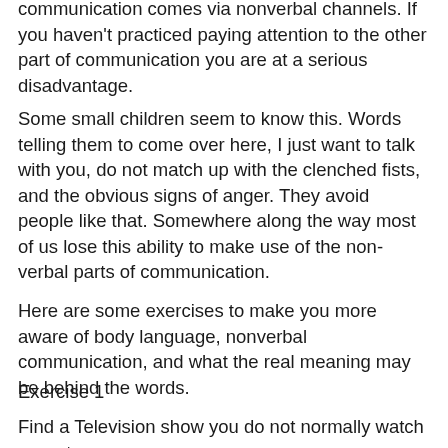communication comes via nonverbal channels. If you haven't practiced paying attention to the other part of communication you are at a serious disadvantage.
Some small children seem to know this. Words telling them to come over here, I just want to talk with you, do not match up with the clenched fists, and the obvious signs of anger. They avoid people like that. Somewhere along the way most of us lose this ability to make use of the non-verbal parts of communication.
Here are some exercises to make you more aware of body language, nonverbal communication, and what the real meaning may be behind the words.
Exercise 1
Find a Television show you do not normally watch or rent a